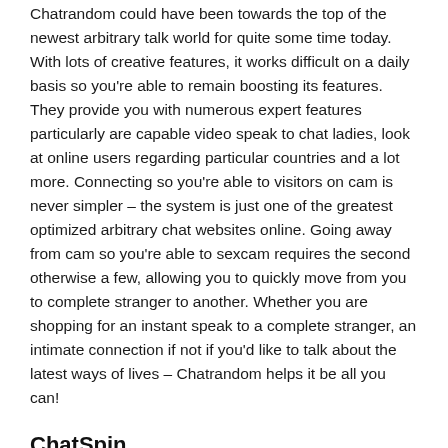Chatrandom could have been towards the top of the newest arbitrary talk world for quite some time today. With lots of creative features, it works difficult on a daily basis so you're able to remain boosting its features. They provide you with numerous expert features particularly are capable video speak to chat ladies, look at online users regarding particular countries and a lot more. Connecting so you're able to visitors on cam is never simpler – the system is just one of the greatest optimized arbitrary chat websites online. Going away from cam so you're able to sexcam requires the second otherwise a few, allowing you to quickly move from you to complete stranger to another. Whether you are shopping for an instant speak to a complete stranger, an intimate connection if not if you'd like to talk about the latest ways of lives – Chatrandom helps it be all you can!
ChatSpin
ChatSpin is the place you ought to feel if you are searching to possess yet another variety of arbitrary speak room. With the